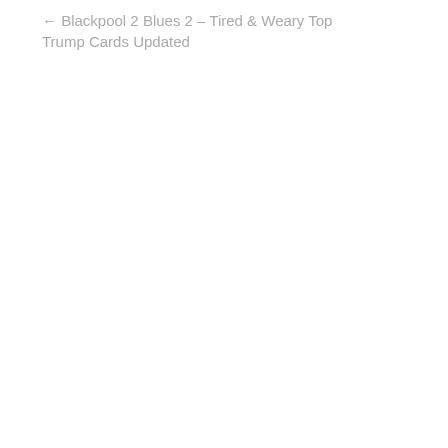← Blackpool 2 Blues 2 – Tired & Weary Top Trump Cards Updated